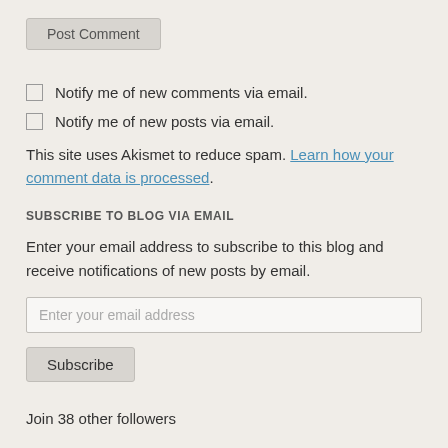Post Comment
Notify me of new comments via email.
Notify me of new posts via email.
This site uses Akismet to reduce spam. Learn how your comment data is processed.
SUBSCRIBE TO BLOG VIA EMAIL
Enter your email address to subscribe to this blog and receive notifications of new posts by email.
Enter your email address
Subscribe
Join 38 other followers